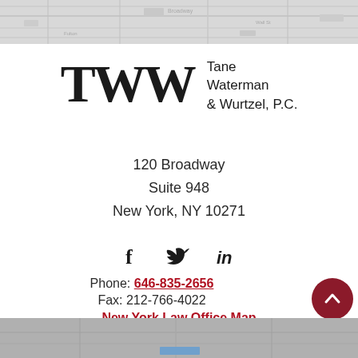[Figure (map): Map banner at top of page showing a street map in light gray tones]
[Figure (logo): TWW logo — large serif TWW letters next to 'Tane Waterman & Wurtzel, P.C.' text]
120 Broadway
Suite 948
New York, NY 10271
[Figure (infographic): Social media icons: Facebook (f), Twitter (bird), LinkedIn (in)]
Phone: 646-835-2656
Fax: 212-766-4022
New York Law Office Map
[Figure (map): Map banner at bottom of page]